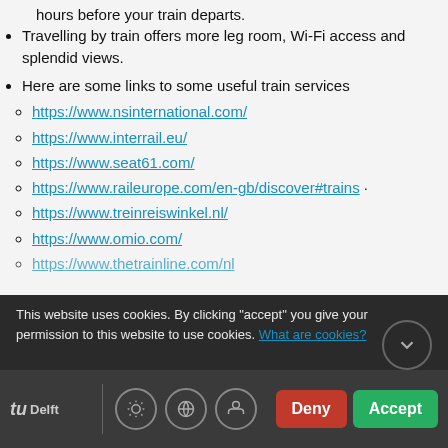hours before your train departs.
Travelling by train offers more leg room, Wi-Fi access and splendid views.
Here are some links to some useful train services
https://www.nsinternational.com/
https://www.interrail.eu/
https://www.seat61.com/
https://www.raileurope.com/en-gb/discover#trains
https://www.treinreiswinkel.nl/
https://www.omio.com/
https://www.thetrainline.com/nl
This website uses cookies. By clicking "accept" you give your permission to this website to use cookies. What are cookies?
TUDelft | Deny | Accept